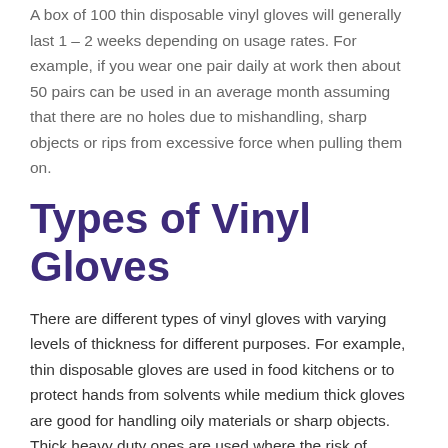A box of 100 thin disposable vinyl gloves will generally last 1 – 2 weeks depending on usage rates. For example, if you wear one pair daily at work then about 50 pairs can be used in an average month assuming that there are no holes due to mishandling, sharp objects or rips from excessive force when pulling them on.
Types of Vinyl Gloves
There are different types of vinyl gloves with varying levels of thickness for different purposes. For example, thin disposable gloves are used in food kitchens or to protect hands from solvents while medium thick gloves are good for handling oily materials or sharp objects. Thick heavy duty ones are used where the risk of puncture is high due to heavy weight loads.
To choose the correct glove size, measure the circumference of your palm just below your knuckles. A